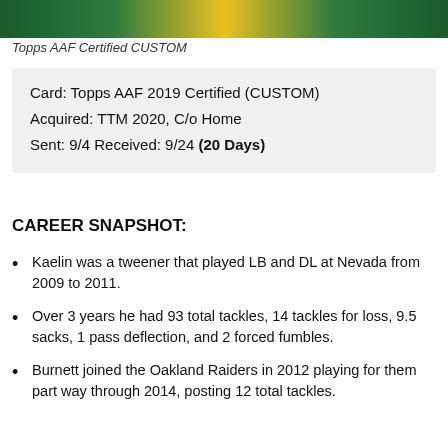[Figure (photo): Top strip showing green and yellow sports card design background]
Topps AAF Certified CUSTOM
Card: Topps AAF 2019 Certified (CUSTOM)
Acquired: TTM 2020, C/o Home
Sent: 9/4 Received: 9/24 (20 Days)
CAREER SNAPSHOT:
Kaelin was a tweener that played LB and DL at Nevada from 2009 to 2011.
Over 3 years he had 93 total tackles, 14 tackles for loss, 9.5 sacks, 1 pass deflection, and 2 forced fumbles.
Burnett joined the Oakland Raiders in 2012 playing for them part way through 2014, posting 12 total tackles.